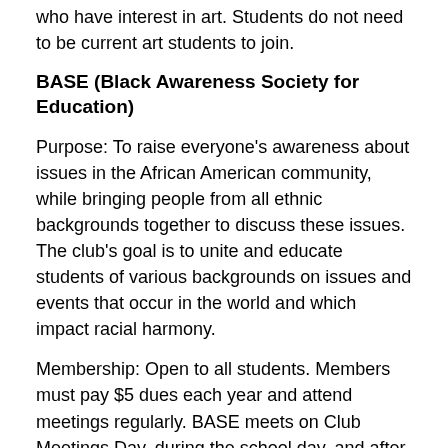who have interest in art. Students do not need to be current art students to join.
BASE (Black Awareness Society for Education)
Purpose: To raise everyone's awareness about issues in the African American community, while bringing people from all ethnic backgrounds together to discuss these issues. The club's goal is to unite and educate students of various backgrounds on issues and events that occur in the world and which impact racial harmony.
Membership: Open to all students. Members must pay $5 dues each year and attend meetings regularly. BASE meets on Club Meetings Day, during the school day, and after school 1 - 2 times per month.
CYBERPATRIOT
Purpose: To inspire young women to choose a path of STEM (science, technology, engineering, and mathematics). CyberPatriot is the National Youth Cyber Education Program created by the Air Force Association